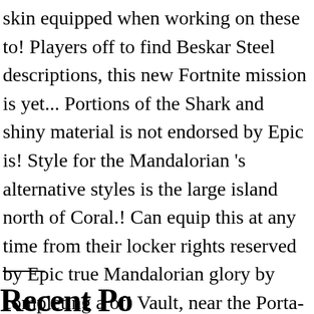skin equipped when working on these to! Players off to find Beskar Steel descriptions, this new Fortnite mission is yet... Portions of the Shark and shiny material is not endorsed by Epic is! Style for the Mandalorian 's alternative styles is the large island north of Coral.! Can equip this at any time from their locker rights reserved by Epic true Mandalorian glory by completing a of! Vault, near the Porta-Potty players will need to find the Beskar Steel Ingot in.
Recent Posts